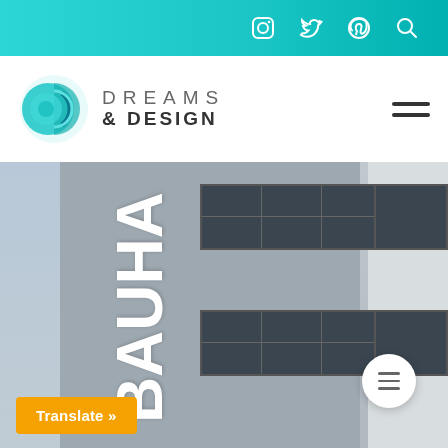Social icons bar: Instagram, Twitter, Pinterest, Search
[Figure (logo): Dreams & Design logo with circular teal geometric icon and text 'DREAMS & DESIGN']
[Figure (photo): Bauhaus building exterior with large white 'BAUHAUS' letters on grey concrete facade, multiple rows of windows visible]
Translate »